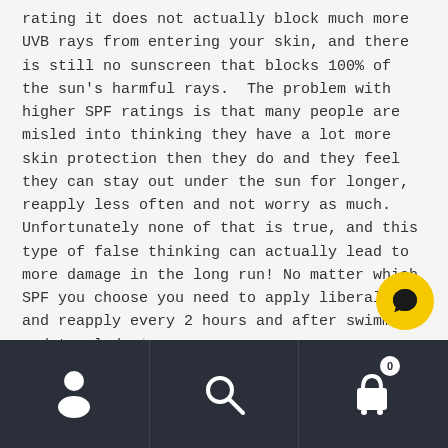rating it does not actually block much more UVB rays from entering your skin, and there is still no sunscreen that blocks 100% of the sun's harmful rays.  The problem with higher SPF ratings is that many people are misled into thinking they have a lot more skin protection then they do and they feel they can stay out under the sun for longer, reapply less often and not worry as much. Unfortunately none of that is true, and this type of false thinking can actually lead to more damage in the long run! No matter which SPF you choose you need to apply liberally and reapply every 2 hours and after swimming and towel drying if you don't them simply won't work.
[Figure (other): Yellow circular chat button with speech bubble icon, overlaid on the bottom-right of the content area]
Navigation footer bar with user/account icon, search icon, and shopping cart icon with badge showing 0